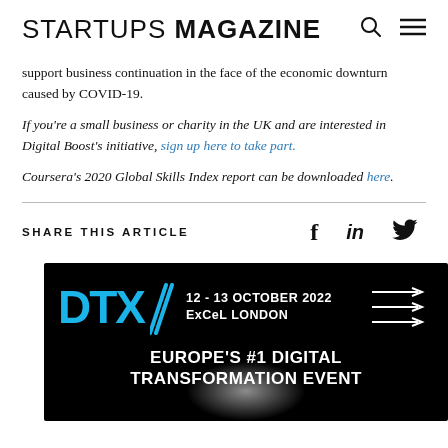STARTUPS MAGAZINE
support business continuation in the face of the economic downturn caused by COVID-19.
If you’re a small business or charity in the UK and are interested in Digital Boost’s initiative, sign up here to take part.
Coursera’s 2020 Global Skills Index report can be downloaded here.
SHARE THIS ARTICLE
[Figure (infographic): DTX advertisement banner: black background with DTX logo in blue, 12-13 October 2022, ExCeL London, Europe's #1 Digital Transformation Event, with decorative arrows and glowing orb.]